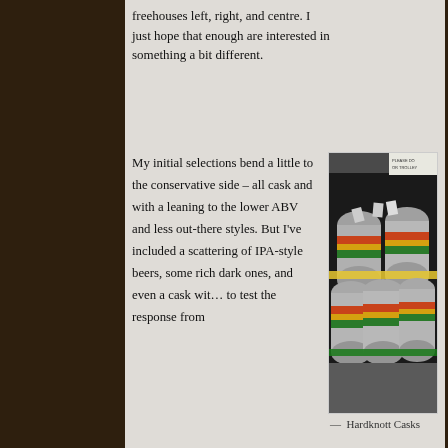freehouses left, right, and centre. I just hope that enough are interested in something a bit different.
My initial selections bend a little to the conservative side – all cask and with a leaning to the lower ABV and less out-there styles. But I've included a scattering of IPA-style beers, some rich dark ones, and even a cask wit… to test the response from
[Figure (photo): Stack of silver beer casks/kegs with coloured bands (red, yellow, green) stacked on a pallet with yellow and green strapping. A sign in background reads 'PLEASE DO NOT USE TROLLEY'. Black plastic visible in background.]
— Hardknott Casks